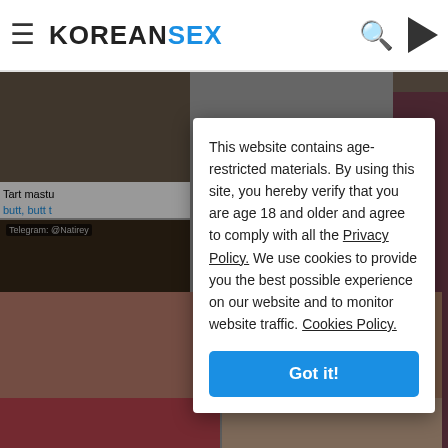KOREANSEX
[Figure (screenshot): Website background showing video thumbnails]
This website contains age-restricted materials. By using this site, you hereby verify that you are age 18 and older and agree to comply with all the Privacy Policy. We use cookies to provide you the best possible experience on our website and to monitor website traffic. Cookies Policy.
Got it!